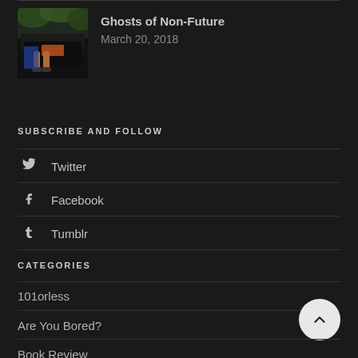[Figure (photo): Thumbnail image of a dark truck/vehicle with legs visible, outdoor setting]
Ghosts of Non-Future
March 20, 2018
SUBSCRIBE AND FOLLOW
Twitter
Facebook
Tumblr
CATEGORIES
101orless
Are You Bored?
Book Review
Favorites